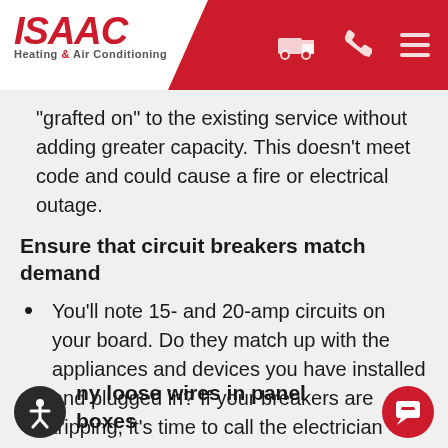[Figure (logo): ISAAC Heating & Air Conditioning logo with red text and red diagonal header bar with truck, phone, and menu icons]
“grafted on” to the existing service without adding greater capacity. This doesn’t meet code and could cause a fire or electrical outage.
Ensure that circuit breakers match demand
You’ll note 15- and 20-amp circuits on your board. Do they match up with the appliances and devices you have installed and plugged in? If your breakers are tripping, it’s time to call the electrician
ny loose wires in panel boxes